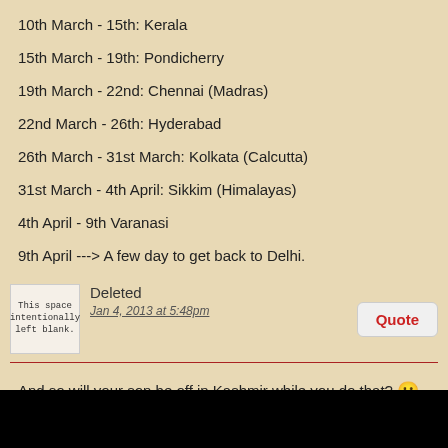10th March - 15th: Kerala
15th March - 19th: Pondicherry
19th March - 22nd: Chennai (Madras)
22nd March - 26th: Hyderabad
26th March - 31st March: Kolkata (Calcutta)
31st March - 4th April: Sikkim (Himalayas)
4th April - 9th Varanasi
9th April ---> A few day to get back to Delhi.
Deleted
Jan 4, 2013 at 5:48pm
And so will your son be off in Kashmir while you do that? 🙂
Deleted
Jan 4, 2013 at 6:42pm